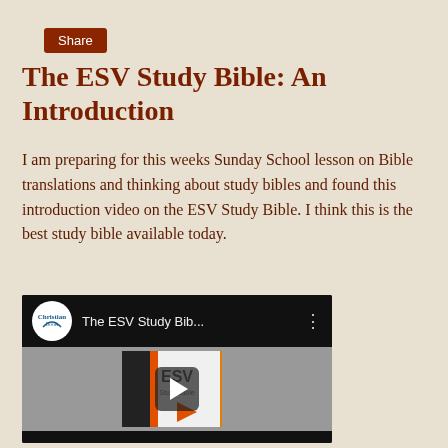Share
The ESV Study Bible: An Introduction
I am preparing for this weeks Sunday School lesson on Bible translations and thinking about study bibles and found this introduction video on the ESV Study Bible. I think this is the best study bible available today.
[Figure (screenshot): YouTube video thumbnail showing the ESV Study Bible book with a play button overlay. Video title shown as 'The ESV Study Bib...' with Christianbook logo.]